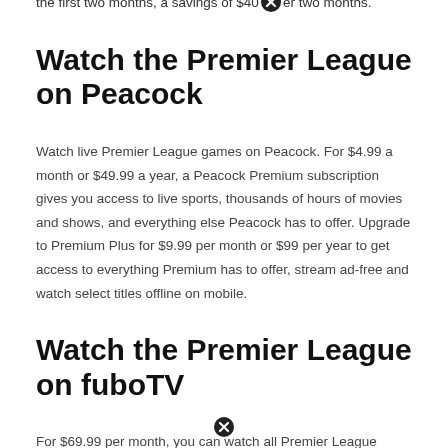the first two months, a savings of $40 per two months.
Watch the Premier League on Peacock
Watch live Premier League games on Peacock. For $4.99 a month or $49.99 a year, a Peacock Premium subscription gives you access to live sports, thousands of hours of movies and shows, and everything else Peacock has to offer. Upgrade to Premium Plus for $9.99 per month or $99 per year to get access to everything Premium has to offer, stream ad-free and watch select titles offline on mobile.
Watch the Premier League on fuboTV
For $69.99 per month, you can watch all Premier League coverage on NBC and USA Network through fuboTV with their Pro plan. Sports-First streaming offers 100+ channels with its Pro plan which includes 100+ sporting events